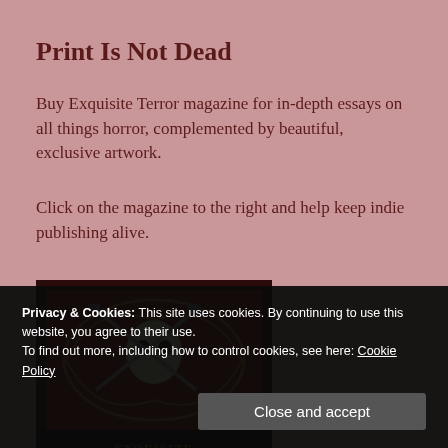Print Is Not Dead
Buy Exquisite Terror magazine for in-depth essays on all things horror, complemented by beautiful, exclusive artwork.
Click on the magazine to the right and help keep indie publishing alive.
[Figure (illustration): Partial view of Exquisite Terror magazine cover featuring stylized horror artwork with a skull-like figure with crossed blades on a red ornamental background]
Privacy & Cookies: This site uses cookies. By continuing to use this website, you agree to their use.
To find out more, including how to control cookies, see here: Cookie Policy
Close and accept